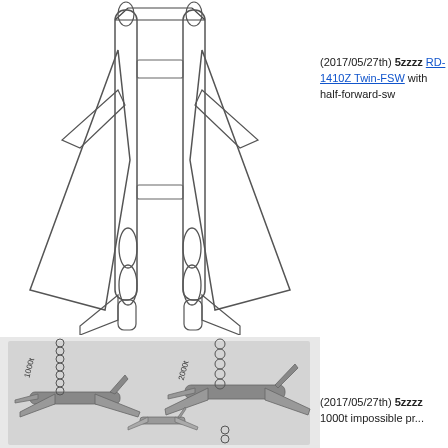[Figure (engineering-diagram): Top-view line drawing of a twin-fuselage aircraft with forward-swept wings, showing two fuselages, canards, and twin tail assemblies viewed from above.]
(2017/05/27th) 5zzzz RD-1410Z Twin-FSW with half-forward-sw...
[Figure (engineering-diagram): Illustration showing two aircraft variants labeled '1000t' and '2000t', depicted from a side-angled perspective with multiple engines visible, on a gray background.]
(2017/05/27th) 5zzzz 1000t impossible pr...